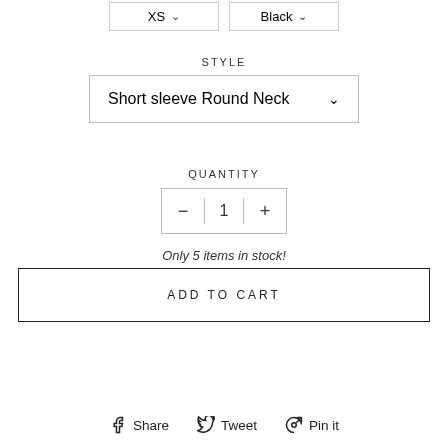XS  Black
STYLE
Short sleeve Round Neck
QUANTITY
1
Only 5 items in stock!
ADD TO CART
Share  Tweet  Pin it